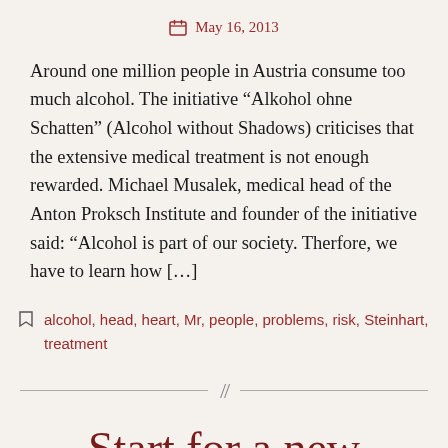May 16, 2013
Around one million people in Austria consume too much alcohol. The initiative “Alkohol ohne Schatten” (Alcohol without Shadows) criticises that the extensive medical treatment is not enough rewarded. Michael Musalek, medical head of the Anton Proksch Institute and founder of the initiative said: “Alcohol is part of our society. Therfore, we have to learn how […]
alcohol, head, heart, Mr, people, problems, risk, Steinhart, treatment
Start for a new mobile